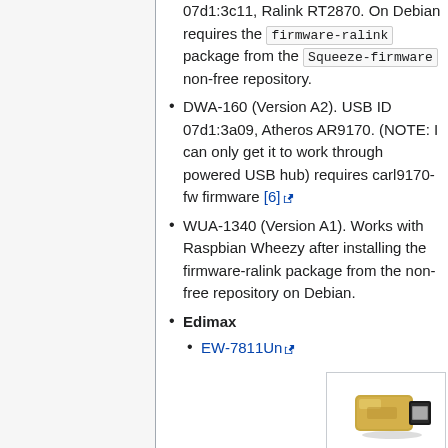07d1:3c11, Ralink RT2870. On Debian requires the firmware-ralink package from the Squeeze-firmware non-free repository.
DWA-160 (Version A2). USB ID 07d1:3a09, Atheros AR9170. (NOTE: I can only get it to work through powered USB hub) requires carl9170-fw firmware [6]
WUA-1340 (Version A1). Works with Raspbian Wheezy after installing the firmware-ralink package from the non-free repository on Debian.
Edimax
EW-7811Un
[Figure (photo): Gold and black USB WiFi dongle/adapter, small form factor]